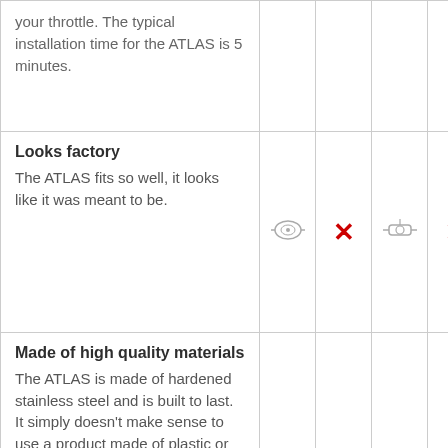| Feature description | Icon 1 | Icon 2 | Icon 3 | Icon 4 |
| --- | --- | --- | --- | --- |
| your throttle. The typical installation time for the ATLAS is 5 minutes. |  |  |  |  |
| Looks factory
The ATLAS fits so well, it looks like it was meant to be. | [throttle icon] | X | [throttle icon] | X |
| Made of high quality materials
The ATLAS is made of hardened stainless steel and is built to last. It simply doesn't make sense to use a product made of plastic or cheap metal. Throttle |  |  |  |  |